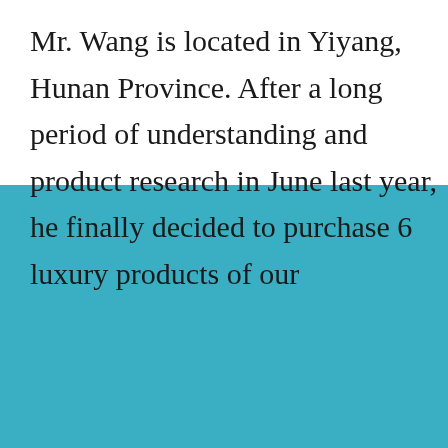Mr. Wang is located in Yiyang, Hunan Province. After a long period of understanding and product research in June last year, he finally decided to purchase 6 luxury products of our